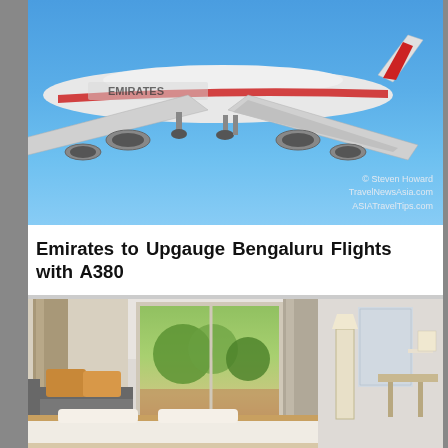[Figure (photo): Emirates A380 aircraft photographed from below against a blue sky, with Emirates livery visible including red stripe on tail. Watermark reads: © Steven Howard, TravelNewsAsia.com, ASIATravelTips.com]
Emirates to Upgauge Bengaluru Flights with A380
[Figure (photo): Hotel room interior showing a large bed with white linens, grey sofa with orange/mustard pillows, glass coffee table, floor-to-ceiling curtains in beige/taupe, large sliding glass door opening to a garden terrace with trees visible outside, floor lamps, and a desk area on the right side.]